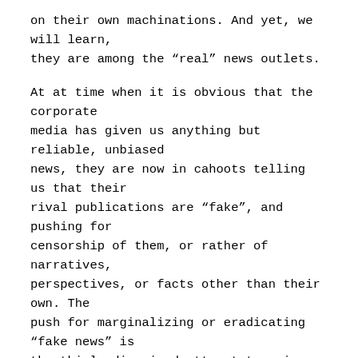on their own machinations. And yet, we will learn, they are among the “real” news outlets.
At at time when it is obvious that the corporate media has given us anything but reliable, unbiased news, they are now in cahoots telling us that their rival publications are “fake”, and pushing for censorship of them, or rather of narratives, perspectives, or facts other than their own. The push for marginalizing or eradicating “fake news” is the thinly disguised attempt to gain a monopoly over reportage, and unify the perspective and agenda which the American public will be exposed to.
I got an email today from the Washington Post